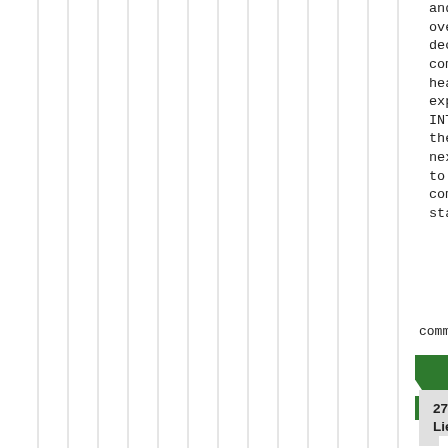and I can't think of a more overrated QB from that decade than Elway. All the commentators with their head up his fundament explaining away the latest INT or INC "because he throws the ball so hard" before the next 3yd underarm toss goes to Sammy Winder for an easy completion to pad his woeful stats...
Log in or register to post comments
27  Re: Derek Carr: Lies, Damned Lies and Statistics